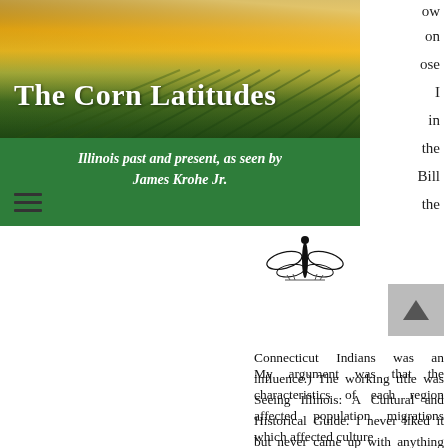[Figure (photo): Aerial photograph of corn fields at sunrise/sunset with golden light, used as website header background]
The Corn Latitudes
Illinois past and present, as seen by James Krohe Jr.
[Figure (illustration): Small black and white illustration of an insect (dragonfly or similar) on the green banner]
ow on ose I in the Bill the Connecticut Indians was an influence.) The working title was Seeing Illinois: A Cultural and Historical Guide. I never liked it but never came up with anything better.
My argument was that the characteristics of each region affected population migrations which affected culture